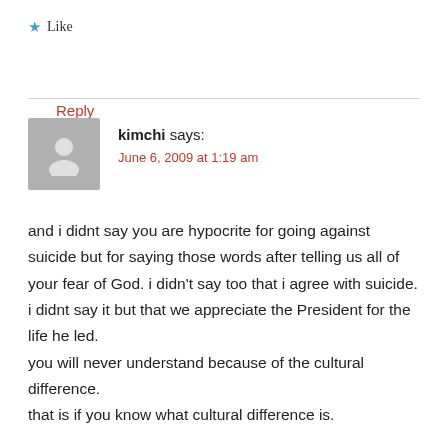★ Like
Reply
kimchi says:
June 6, 2009 at 1:19 am
and i didnt say you are hypocrite for going against suicide but for saying those words after telling us all of your fear of God. i didn't say too that i agree with suicide. i didnt say it but that we appreciate the President for the life he led.
you will never understand because of the cultural difference.
that is if you know what cultural difference is.